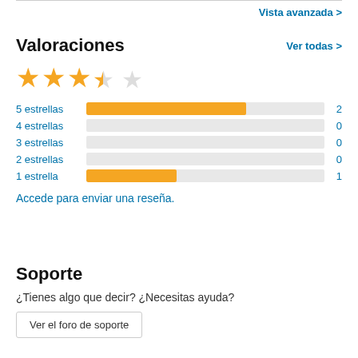Vista avanzada >
Valoraciones
Ver todas >
[Figure (other): Star rating: 3.5 out of 5 stars (3 full, 1 half, 1 empty)]
[Figure (bar-chart): Rating distribution]
Accede para enviar una reseña.
Soporte
¿Tienes algo que decir? ¿Necesitas ayuda?
Ver el foro de soporte